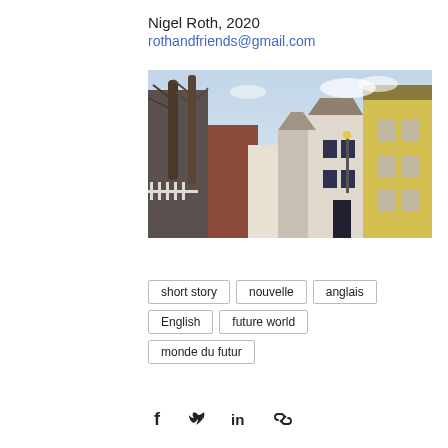Nigel Roth, 2020
rothandfriends@gmail.com
[Figure (photo): A narrow cobblestone street in an English town, flanked by historic buildings including a white building and a yellow one on the right, with bare trees on the left and a sky with light clouds in the background.]
short story
nouvelle
anglais
English
future world
monde du futur
[Figure (illustration): Social share icons: Facebook (f), Twitter (bird), LinkedIn (in), and a link/chain icon]